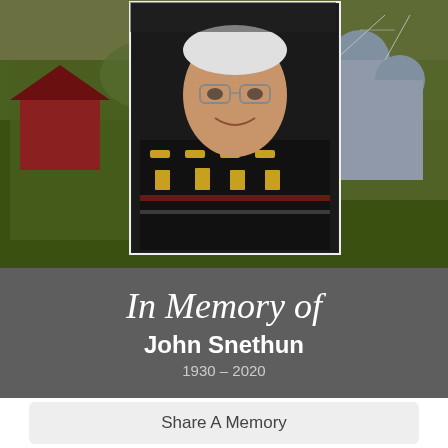[Figure (photo): Memorial page photo: elderly man wearing a patterned black sweater with gold deer/moose designs, smiling, overlaid on a farm background with green wheat fields, a red barn on the left, and grain silos on the right.]
In Memory of
John Snethun
1930 - 2020
Share A Memory